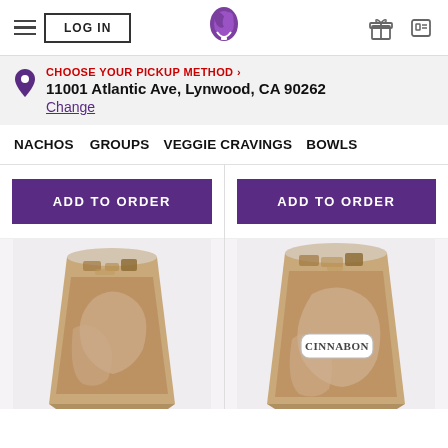Taco Bell — LOG IN | Navigation header with hamburger menu, logo, gift and card icons
CHOOSE YOUR PICKUP METHOD › 11001 Atlantic Ave, Lynwood, CA 90262 Change
NACHOS   GROUPS   VEGGIE CRAVINGS   BOWLS
ADD TO ORDER (left column)
ADD TO ORDER (right column)
[Figure (photo): Taco Bell iced coffee drink in a branded cup with Taco Bell logo — left product]
[Figure (photo): Taco Bell Cinnabon iced coffee drink in a branded cup with Cinnabon label — right product]